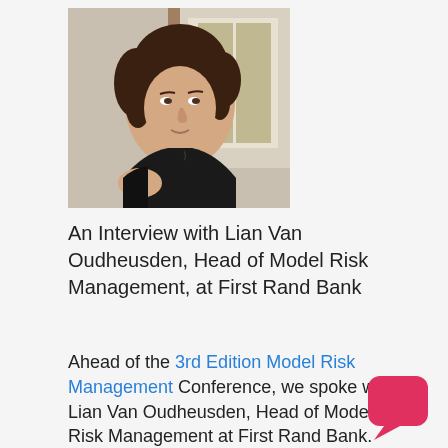[Figure (photo): Portrait photo of a woman with curly dark hair wearing a black sleeveless top, seated indoors with a light background]
An Interview with Lian Van Oudheusden, Head of Model Risk Management, at First Rand Bank
Ahead of the 3rd Edition Model Risk Management Conference, we spoke with Lian Van Oudheusden, Head of Model Risk Management at First Rand Bank. Lian is responsible for model risk strategy and